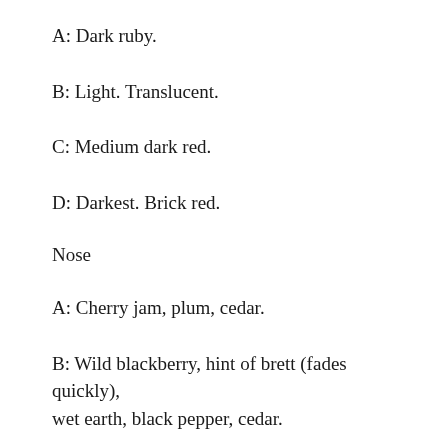A: Dark ruby.
B: Light. Translucent.
C: Medium dark red.
D: Darkest. Brick red.
Nose
A: Cherry jam, plum, cedar.
B: Wild blackberry, hint of brett (fades quickly), wet earth, black pepper, cedar.
C: Mild compared to the others. Crushed